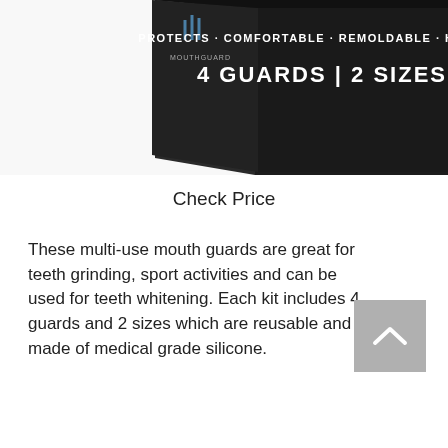[Figure (photo): Product box image on dark background with text: PROTECTS · COMFORTABLE · REMOLDABLE · HYGENIC and 4 GUARDS | 2 SIZES]
Check Price
These multi-use mouth guards are great for teeth grinding, sport activities and can be used for teeth whitening. Each kit includes 4 guards and 2 sizes which are reusable and made of medical grade silicone.
[Figure (other): Back to top button - grey square with white upward chevron arrow]